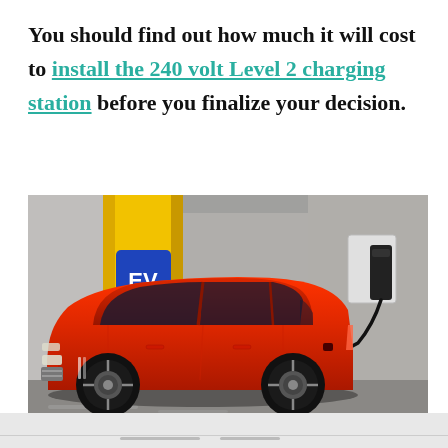You should find out how much it will cost to install the 240 volt Level 2 charging station before you finalize your decision.
[Figure (photo): A red electric SUV parked at an EV charging station inside a parking garage. The car is plugged into a wall-mounted charger. In the background there is a yellow pillar with a blue EV sign, concrete walls, and garage flooring.]